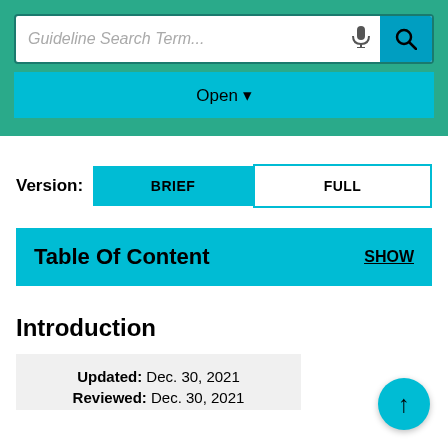[Figure (screenshot): Search bar with placeholder text 'Guideline Search Term...', microphone icon, and teal search button with magnifying glass icon, inside a teal banner with an 'Open' dropdown below it.]
Version:  BRIEF  FULL
Table Of Content  SHOW
Introduction
Updated: Dec. 30, 2021
Reviewed: Dec. 30, 2021